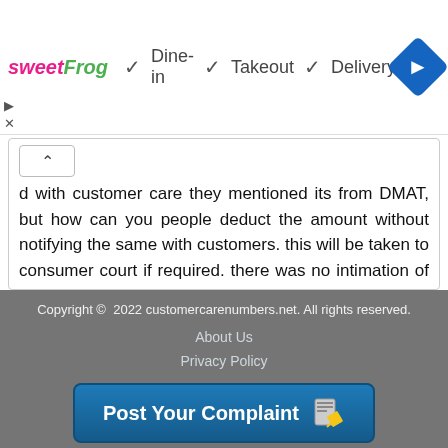[Figure (screenshot): Ad banner showing sweetFrog logo with Dine-in, Takeout, Delivery options and navigation icon]
d with customer care they mentioned its from DMAT, but how can you people deduct the amount without notifying the same with customers. this will be taken to consumer court if required. there was no intimation of such deductions given, and you can not deduct it without our interest in it. Kindly repay the amount deducted. Thank you.
Copyright © 2022 customercarenumbers.net. All rights reserved. | About Us | Privacy Policy | Post Your Complaint